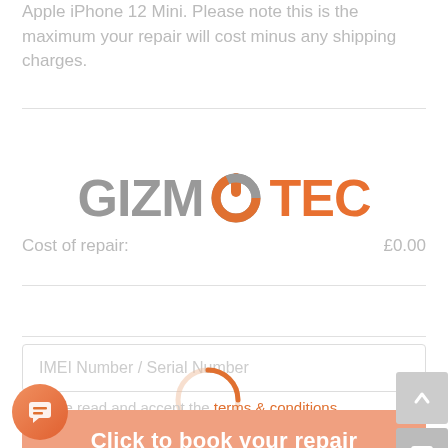Apple iPhone 12 Mini. Please note this is the maximum your repair will cost minus any shipping charges.
Cost of repair: £0.00
[Figure (logo): GizmoTec logo with grey GIZMO text and orange U power icon and TEC text]
VAT: £0.00
Total: £0.00
IMEI Number / Serial Number
I've read and accept the terms & conditions
Click to book your repair